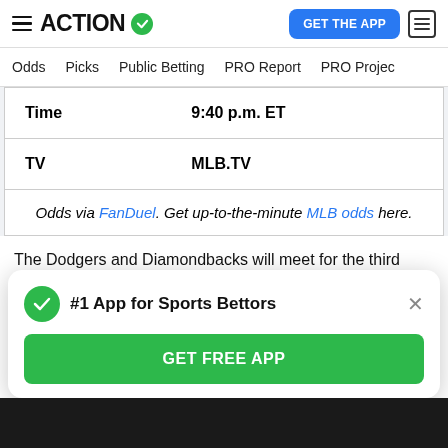ACTION (logo with checkmark) | GET THE APP
Odds | Picks | Public Betting | PRO Report | PRO Project
| Time | 9:40 p.m. ET |
| TV | MLB.TV |
| Odds via FanDuel. Get up-to-the-minute MLB odds here. |  |
The Dodgers and Diamondbacks will meet for the third series between them this season after Arizona took the
#1 App for Sports Bettors | GET FREE APP